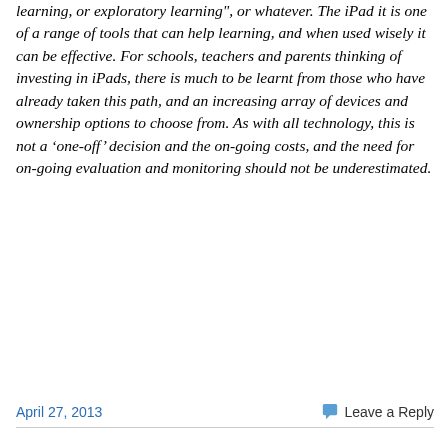learning, or exploratory learning", or whatever. The iPad it is one of a range of tools that can help learning, and when used wisely it can be effective. For schools, teachers and parents thinking of investing in iPads, there is much to be learnt from those who have already taken this path, and an increasing array of devices and ownership options to choose from. As with all technology, this is not a ‘one-off’ decision and the on-going costs, and the need for on-going evaluation and monitoring should not be underestimated.
April 27, 2013   Leave a Reply